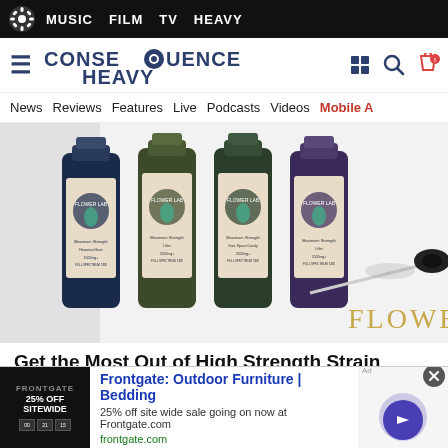MUSIC  FILM  TV  HEAVY
[Figure (logo): Consequence Heavy logo with gear icon and navigation icons (store, search, tag)]
News  Reviews  Features  Live  Podcasts  Videos  Mobile A
[Figure (photo): Four Flower Lab amber dropper bottles with cannabis leaf labels (Maximum Strength varieties), a glass dropper in foreground, white background, gold 'FLOWER LAB' text at bottom]
Get the Most Out of High Strength Strain Specific Tinctures!
[Figure (infographic): Advertisement: Frontgate Outdoor Furniture | Bedding. 25% off site wide sale going on now at Frontgate.com. frontgate.com. Thumbnail shows '25% OFF SITEWIDE' black promotional banner. Purple circle arrow button on right.]